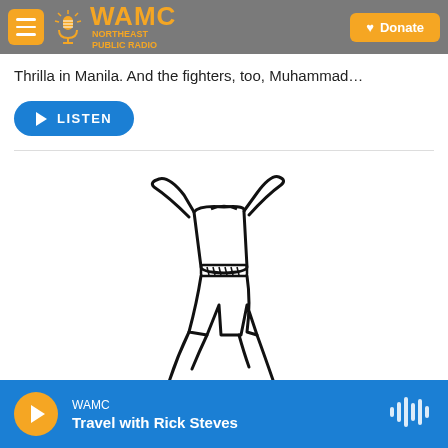WAMC Northeast Public Radio | Donate
Thrilla in Manila. And the fighters, too, Muhammad...
LISTEN
[Figure (illustration): Line drawing of a boxer in fighting stance wearing shorts and a championship belt, arms raised]
WAMC | Travel with Rick Steves